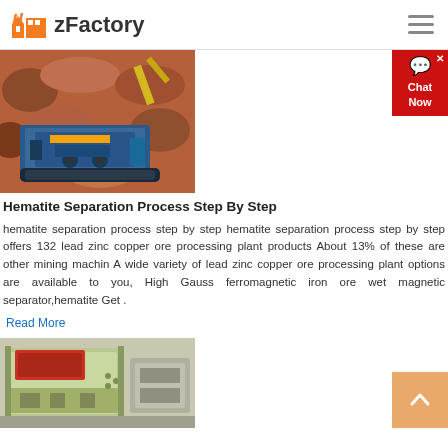zFactory
[Figure (photo): Heavy industrial crusher/mining machine on rocky terrain with excavator in background]
Hematite Separation Process Step By Step
hematite separation process step by step hematite separation process step by step offers 132 lead zinc copper ore processing plant products About 13% of these are other mining machin A wide variety of lead zinc copper ore processing plant options are available to you, High Gauss ferromagnetic iron ore wet magnetic separator,hematite Get .
Read More
[Figure (photo): Industrial impact crusher machine in factory/warehouse setting, green and white colored equipment with red feeder]